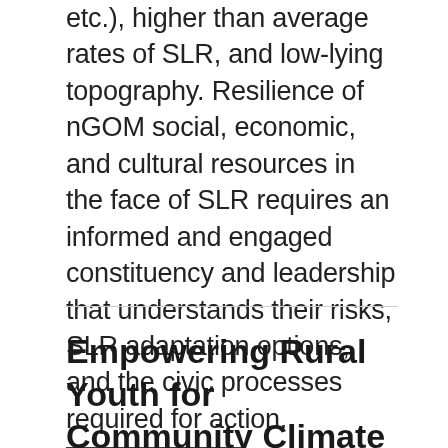etc.), higher than average rates of SLR, and low-lying topography. Resilience of nGOM social, economic, and cultural resources in the face of SLR requires an informed and engaged constituency and leadership that understands their risks, SLR adaptation options, and the civic processes required for action.
Show More ▼
Empowering Rural Youth for Community Climate Resilience in New York State